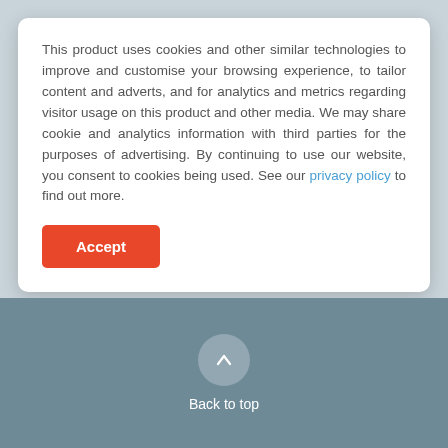This product uses cookies and other similar technologies to improve and customise your browsing experience, to tailor content and adverts, and for analytics and metrics regarding visitor usage on this product and other media. We may share cookie and analytics information with third parties for the purposes of advertising. By continuing to use our website, you consent to cookies being used. See our privacy policy to find out more.
Accept
Browse all NSW Suburbs
Back to top